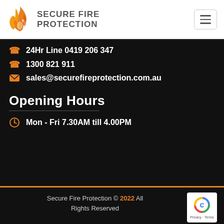SECURE FIRE PROTECTION
24Hr Line 0419 206 347
1300 821 911
sales@securefireprotection.com.au
Opening Hours
Mon - Fri 7.30AM till 4.00PM
Secure Fire Protection © 2022 All Rights Reserved